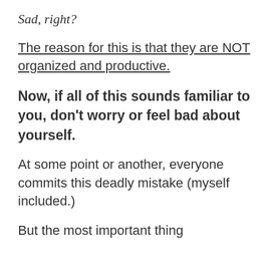Sad, right?
The reason for this is that they are NOT organized and productive.
Now, if all of this sounds familiar to you, don't worry or feel bad about yourself.
At some point or another, everyone commits this deadly mistake (myself included.)
But the most important thing